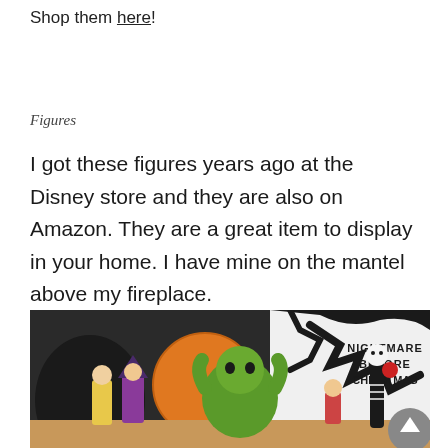Shop them here!
Figures
I got these figures years ago at the Disney store and they are also on Amazon. They are a great item to display in your home. I have mine on the mantel above my fireplace.
[Figure (photo): Photo of Nightmare Before Christmas figurines displayed together, including Sally, Jack Skellington, Oogie Boogie (green), a witch figure, and others, with a Nightmare Before Christmas logo/sign in the background. A scroll-up button appears in the bottom right corner.]